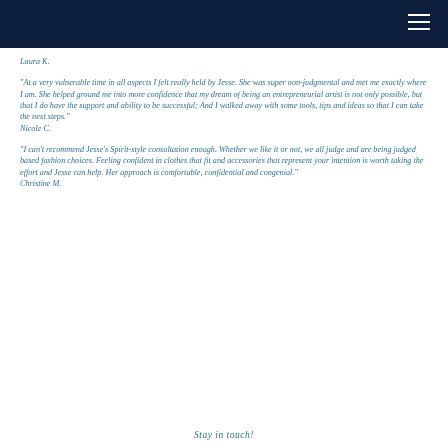Laura K.
"At a very vulnerable time in all aspects I felt really held by Jesse. She was super non-judgmental and met me exactly where I am. She helped ground me into more confidence that my dream of being an entrepreneurial artist is not only possible, but that I do have the support and ability to be successful; And I walked away with some tools, tips and ideas so that I can take the next steps."
Nicole C.
"I can't recommend Jesse's Spirit-style consultation enough. Whether we like it or not, we all judge and are being judged based fashion choices. Feeling confident in clothes that fit and accessories that represent your intention is worth taking the effort and Jesse can help. Her approach is comfortable, confidential and congenial."
Christine M.
Stay in touch!